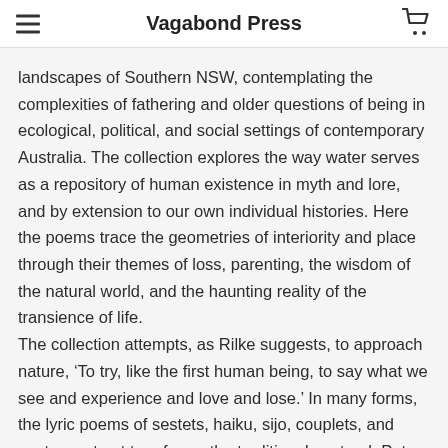Vagabond Press
landscapes of Southern NSW, contemplating the complexities of fathering and older questions of being in ecological, political, and social settings of contemporary Australia. The collection explores the way water serves as a repository of human existence in myth and lore, and by extension to our own individual histories. Here the poems trace the geometries of interiority and place through their themes of loss, parenting, the wisdom of the natural world, and the haunting reality of the transience of life.
The collection attempts, as Rilke suggests, to approach nature, ‘To try, like the first human being, to say what we see and experience and love and lose.’ In many forms, the lyric poems of sestets, haiku, sijo, couplets, and cantos, set out to reframe the traditional pastoral. Peter Ramm’s first collection is